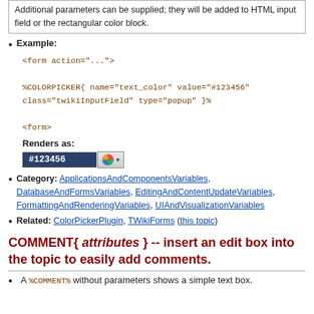| Additional parameters can be supplied; they will be added to HTML input field or the rectangular color block. |
Example:
<form action="...">
%COLORPICKER{ name="text_color" value="#123456"
class="twikiInputField" type="popup" }%
<form>
Renders as:
[Figure (screenshot): Color picker widget showing #123456 in a dark blue input field with a color wheel button and dropdown arrow]
Category: ApplicationsAndComponentsVariables, DatabaseAndFormsVariables, EditingAndContentUpdateVariables, FormattingAndRenderingVariables, UIAndVisualizationVariables
Related: ColorPickerPlugin, TWikiForms (this topic)
COMMENT{ attributes } -- insert an edit box into the topic to easily add comments.
A %COMMENT% without parameters shows a simple text box.